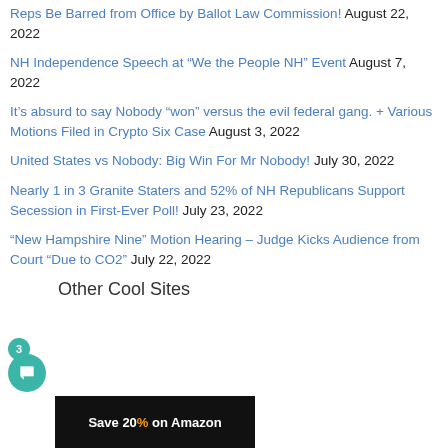Reps Be Barred from Office by Ballot Law Commission! August 22, 2022
NH Independence Speech at “We the People NH” Event August 7, 2022
It’s absurd to say Nobody “won” versus the evil federal gang. + Various Motions Filed in Crypto Six Case August 3, 2022
United States vs Nobody: Big Win For Mr Nobody! July 30, 2022
Nearly 1 in 3 Granite Staters and 52% of NH Republicans Support Secession in First-Ever Poll! July 23, 2022
“New Hampshire Nine” Motion Hearing – Judge Kicks Audience from Court “Due to CO2” July 22, 2022
Other Cool Sites
[Figure (other): Save 20% on Amazon banner advertisement with dark background and orange text]